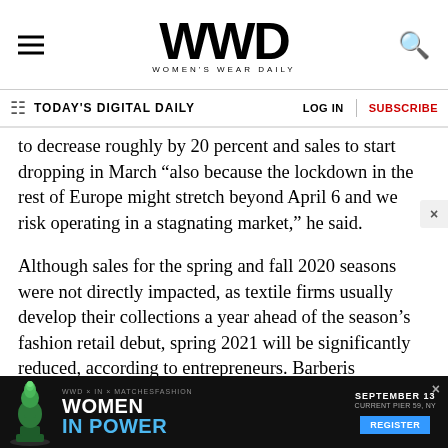WWD WOMEN'S WEAR DAILY
TODAY'S DIGITAL DAILY   LOG IN   SUBSCRIBE
to decrease roughly by 20 percent and sales to start dropping in March “also because the lockdown in the rest of Europe might stretch beyond April 6 and we risk operating in a stagnating market,” he said.
Although sales for the spring and fall 2020 seasons were not directly impacted, as textile firms usually develop their collections a year ahead of the season’s fashion retail debut, spring 2021 will be significantly reduced, according to entrepreneurs. Barberis Canonico forecast that, as the
[Figure (screenshot): Advertisement banner for WWD x IN x MATCHESFASHION Women in Power event, September 13, Current Pier 59, NY with Register button]